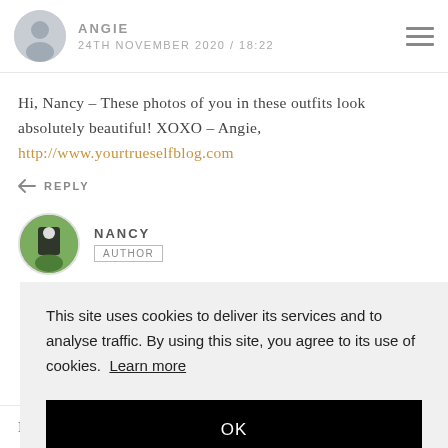ANGIE — 24TH NOVEMBER 2020 / 18:22
Hi, Nancy – These photos of you in these outfits look absolutely beautiful! XOXO – Angie, http://www.yourtrueselfblog.com
↩ REPLY
NANCY — AUTHOR
This site uses cookies to deliver its services and to analyse traffic. By using this site, you agree to its use of cookies. Learn more
OK
I totally agree with you, Nancy, I just want to get out again! With